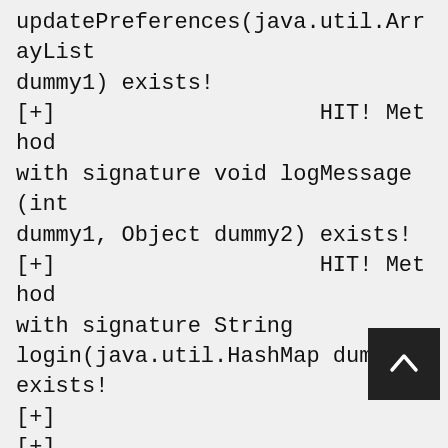updatePreferences(java.util.ArrayList dummy1) exists!
[+]                    HIT! Method with signature void logMessage(int dummy1, Object dummy2) exists!
[+]                    HIT! Method with signature String login(java.util.HashMap dummy1) exists!
[+]
[+]
[+] Listing successfully guessed methods:
[+]      -  ssl-server
[+]             --> String system(String[] dummy)
[+]             --> int execute(String dummy)
[+]             --> void releaseRecord(int recordID, String